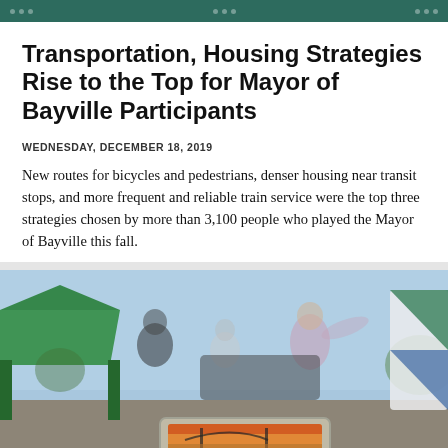Transportation, Housing Strategies Rise to the Top for Mayor of Bayville Participants
WEDNESDAY, DECEMBER 18, 2019
New routes for bicycles and pedestrians, denser housing near transit stops, and more frequent and reliable train service were the top three strategies chosen by more than 3,100 people who played the Mayor of Bayville this fall.
[Figure (photo): Outdoor event photo showing people at a community event with a green tent canopy on the left, people conversing in an outdoor setting under blue sky, and a display stand with a photo of a bridge at sunset in the foreground. A sign with green and blue diagonal stripes is visible on the right.]